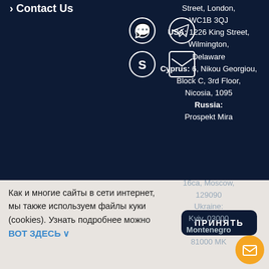Contact Us
[Figure (infographic): Social media icons: WhatsApp, Telegram, Skype, Email arranged in 2x2 grid]
Street, London, WC1B 3QJ USA: 1226 King Street, Wilmington, Delaware Cyprus: 6, Nikou Georgiou, Block C, 3rd Floor, Nicosia, 1095 Russia: Prospekt Mira 16са, Moscow, 129090 Ukraine: Kyiv, 03000 Montenegro: 81000 MK
Как и многие сайты в сети интернет, мы также используем файлы куки (cookies). Узнать подробнее можно вот здесь
ПРИНЯТЬ